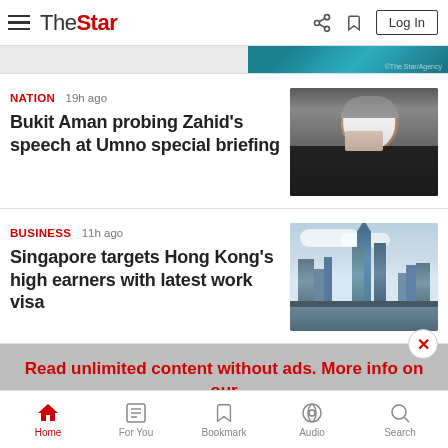The Star — navigation header with hamburger menu, logo, share, bookmark, and Log In button
[Figure (screenshot): Partial top image strip visible at top right]
NATION 19h ago
Bukit Aman probing Zahid's speech at Umno special briefing
[Figure (photo): Man wearing white N95 mask, grey hair, dark suit — Zahid at Umno briefing]
BUSINESS 11h ago
Singapore targets Hong Kong's high earners with latest work visa
[Figure (photo): Singapore city skyline with tall glass skyscrapers against a cloudy sky]
Read unlimited content without ads. More info on our Premium Plan. >
Home | For You | Bookmark | Audio | Search